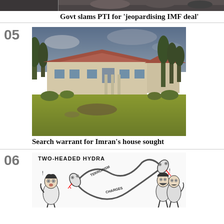[Figure (photo): Partial photo of people at top of page (cropped)]
Govt slams PTI for 'jeopardising IMF deal'
05
[Figure (photo): Photo of a large house/estate with red-tiled roof, trees, and green lawn — Imran Khan's Bani Gala residence]
Search warrant for Imran's house sought
06
[Figure (illustration): Political cartoon titled 'TWO-HEADED HYDRA' showing a two-headed snake with heads labeled 'TERRORISM CHARGES', with two frightened figures on either side]